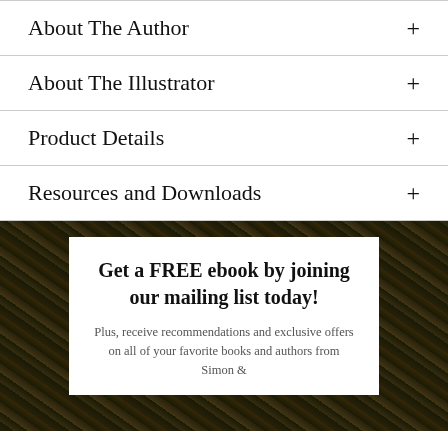About The Author
About The Illustrator
Product Details
Resources and Downloads
[Figure (other): Promotional banner with dark textured background (swirling gold and black pattern) containing a white card overlay]
Get a FREE ebook by joining our mailing list today!
Plus, receive recommendations and exclusive offers on all of your favorite books and authors from Simon &